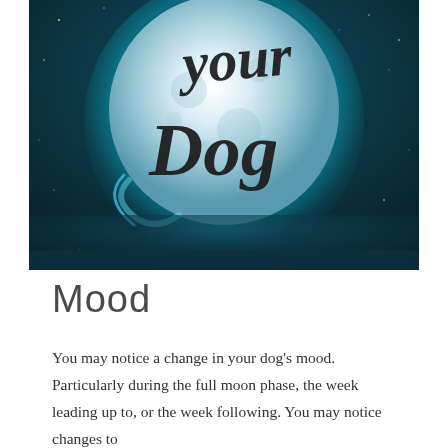[Figure (illustration): Dark teal/blue night sky scene with a large glowing full moon. Over the moon in cursive/script black handwritten font are the words 'your Dog' (partially visible, top cut off). The background has a starry night sky atmosphere.]
Mood
You may notice a change in your dog's mood. Particularly during the full moon phase, the week leading up to, or the week following. You may notice changes to...